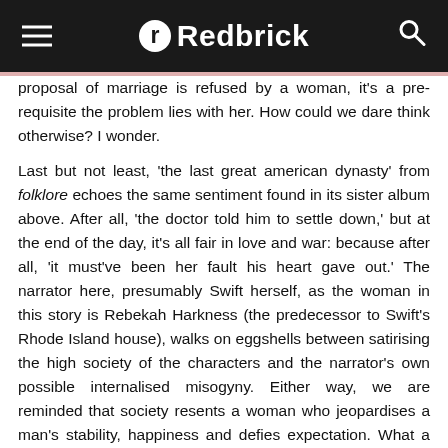Redbrick
proposal of marriage is refused by a woman, it's a prerequisite the problem lies with her. How could we dare think otherwise? I wonder.
Last but not least, 'the last great american dynasty' from folklore echoes the same sentiment found in its sister album above. After all, 'the doctor told him to settle down,' but at the end of the day, it's all fair in love and war: because after all, 'it must've been her fault his heart gave out.' The narrator here, presumably Swift herself, as the woman in this story is Rebekah Harkness (the predecessor to Swift's Rhode Island house), walks on eggshells between satirising the high society of the characters and the narrator's own possible internalised misogyny. Either way, we are reminded that society resents a woman who jeopardises a man's stability, happiness and defies expectation. What a dynasty life is – so long as men are at the head.
It would appear modern day misogyny is the greatest 'hoax' that we believe in. But if 'no one likes a mad woman/ you made her like that,' then time is overdue to follow suit with